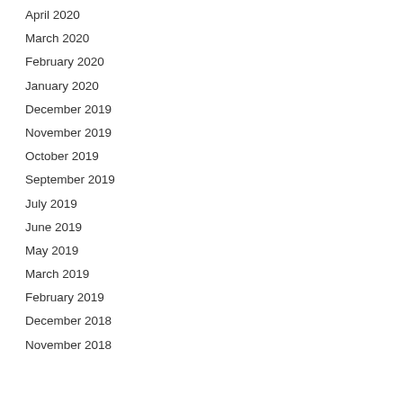April 2020
March 2020
February 2020
January 2020
December 2019
November 2019
October 2019
September 2019
July 2019
June 2019
May 2019
March 2019
February 2019
December 2018
November 2018